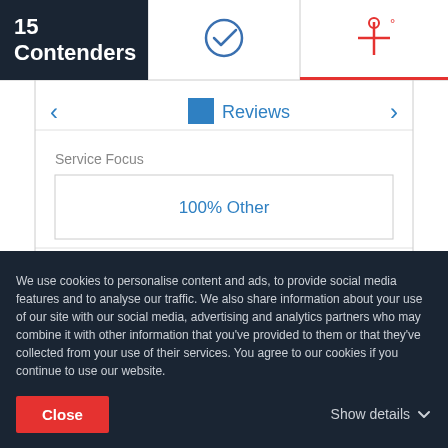15 Contenders
[Figure (screenshot): Website UI screenshot showing a page with tabs (checkmark icon and settings/filter icon), a Reviews section with navigation arrows and a blue square icon, a Service Focus section showing '100% Other' in a bordered box, and navigation arrows. Below is a partially visible bottom bar.]
This website uses cookies
We use cookies to personalise content and ads, to provide social media features and to analyse our traffic. We also share information about your use of our site with our social media, advertising and analytics partners who may combine it with other information that you've provided to them or that they've collected from your use of their services. You agree to our cookies if you continue to use our website.
Close
Show details